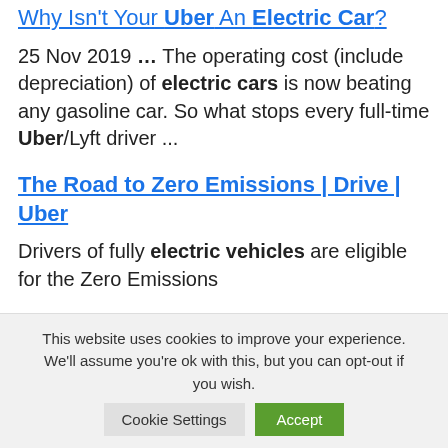Why Isn't Your Uber An Electric Car?
25 Nov 2019 … The operating cost (include depreciation) of electric cars is now beating any gasoline car. So what stops every full-time Uber/Lyft driver ...
The Road to Zero Emissions | Drive | Uber
Drivers of fully electric vehicles are eligible for the Zero Emissions
This website uses cookies to improve your experience. We'll assume you're ok with this, but you can opt-out if you wish.